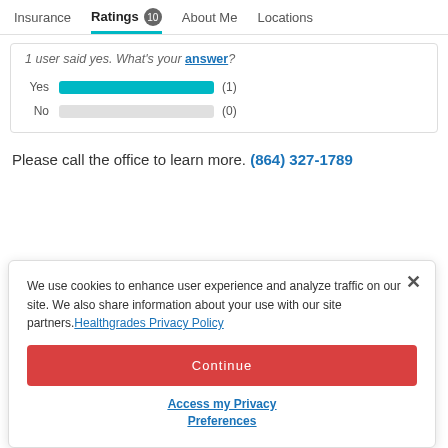Insurance | Ratings 10 | About Me | Locations
1 user said yes. What's your answer?
[Figure (bar-chart): Yes/No poll results]
Please call the office to learn more. (864) 327-1789
We use cookies to enhance user experience and analyze traffic on our site. We also share information about your use with our site partners. Healthgrades Privacy Policy
Continue
Access my Privacy Preferences